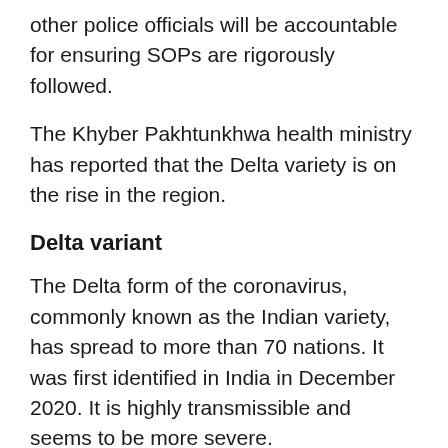other police officials will be accountable for ensuring SOPs are rigorously followed.
The Khyber Pakhtunkhwa health ministry has reported that the Delta variety is on the rise in the region.
Delta variant
The Delta form of the coronavirus, commonly known as the Indian variety, has spread to more than 70 nations. It was first identified in India in December 2020. It is highly transmissible and seems to be more severe.
The development of this variation “is a big cloud on the horizon,” says Bill Hanage, an associate professor at Harvard Chan School of Public Health. “Delta is terrible; even if we don’t know precisely how awful, a new study has put it at maybe 40 percent more